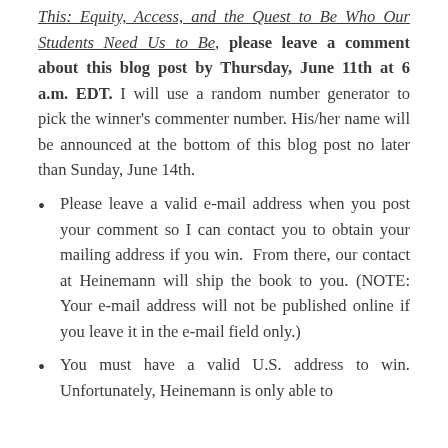This: Equity, Access, and the Quest to Be Who Our Students Need Us to Be, please leave a comment about this blog post by Thursday, June 11th at 6 a.m. EDT. I will use a random number generator to pick the winner's commenter number. His/her name will be announced at the bottom of this blog post no later than Sunday, June 14th.
Please leave a valid e-mail address when you post your comment so I can contact you to obtain your mailing address if you win.  From there, our contact at Heinemann will ship the book to you. (NOTE: Your e-mail address will not be published online if you leave it in the e-mail field only.)
You must have a valid U.S. address to win. Unfortunately, Heinemann is only able to